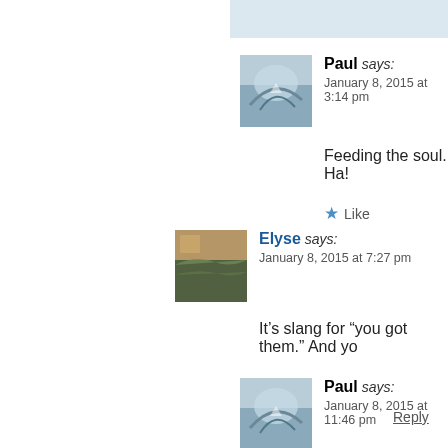[Figure (screenshot): Top bar light blue background strip]
Paul says:
January 8, 2015 at 3:14 pm

Feeding the soul. Ha!
Like
Reply
Elyse says:
January 8, 2015 at 7:27 pm

It's slang for "you got them." And yo
Like
Reply
Paul says:
January 8, 2015 at 11:46 pm